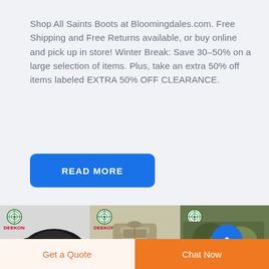Shop All Saints Boots at Bloomingdales.com. Free Shipping and Free Returns available, or buy online and pick up in store! Winter Break: Save 30–50% on a large selection of items. Plus, take an extra 50% off items labeled EXTRA 50% OFF CLEARANCE.
[Figure (other): Blue 'READ MORE' button]
[Figure (photo): Three product images: black knee pads (DEEKON brand), tan tactical vest (DEEKON brand), camouflage ghillie suit (DEEKON brand), with a blue back-to-top arrow button overlaid on the third product.]
Get a Quote
Chat Now